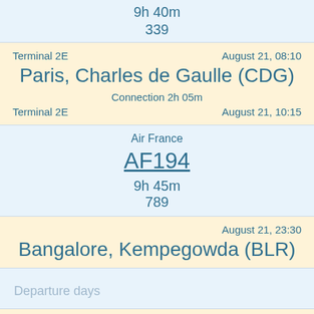9h 40m
339
Terminal 2E    August 21, 08:10
Paris, Charles de Gaulle (CDG)
Connection 2h 05m
Terminal 2E    August 21, 10:15
Air France
AF194
9h 45m
789
August 21, 23:30
Bangalore, Kempegowda (BLR)
Departure days
«    »